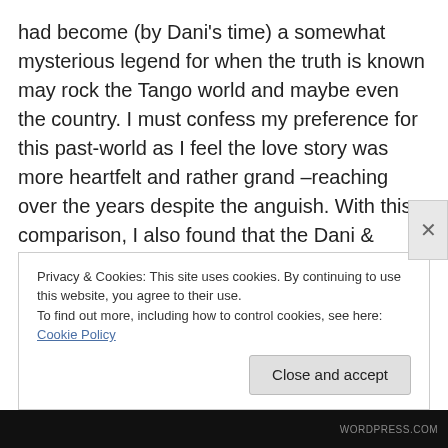had become (by Dani's time) a somewhat mysterious legend for when the truth is known may rock the Tango world and maybe even the country. I must confess my preference for this past-world as I feel the love story was more heartfelt and rather grand –reaching over the years despite the anguish. With this comparison, I also found that the Dani & Carlos 'relationship' seems to be rather easy… ie. 'stumbling blocks' seem rather like pebbles and all smoothed out with just a tad of distress. Their attraction and sexual tension was felt but there was a lack of the entertaining playful teasing that I most appreciate in
Privacy & Cookies: This site uses cookies. By continuing to use this website, you agree to their use.
To find out more, including how to control cookies, see here: Cookie Policy